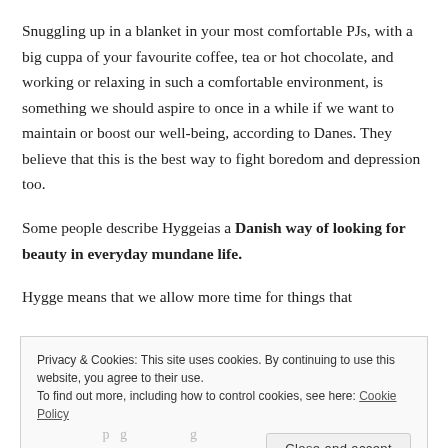Snuggling up in a blanket in your most comfortable PJs, with a big cuppa of your favourite coffee, tea or hot chocolate, and working or relaxing in such a comfortable environment, is something we should aspire to once in a while if we want to maintain or boost our well-being, according to Danes. They believe that this is the best way to fight boredom and depression too.
Some people describe Hyggeias a Danish way of looking for beauty in everyday mundane life.
Hygge means that we allow more time for things that
Privacy & Cookies: This site uses cookies. By continuing to use this website, you agree to their use. To find out more, including how to control cookies, see here: Cookie Policy
Close and accept